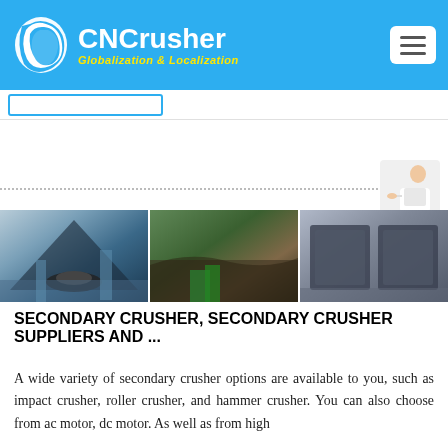[Figure (logo): CNCrusher logo with blue circular icon, white text 'CNCrusher', yellow italic subtitle 'Globalization & Localization' on blue header background]
[Figure (screenshot): Three side-by-side product images: crusher interior view, outdoor rock crushing site, and industrial crusher equipment]
SECONDARY CRUSHER, SECONDARY CRUSHER SUPPLIERS AND ...
A wide variety of secondary crusher options are available to you, such as impact crusher, roller crusher, and hammer crusher. You can also choose from ac motor, dc motor. As well as from high ...